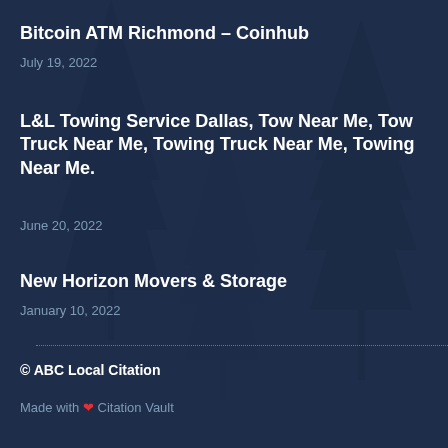Bitcoin ATM Richmond – Coinhub
July 19, 2022
L&L Towing Service Dallas, Tow Near Me, Tow Truck Near Me, Towing Truck Near Me, Towing Near Me.
June 20, 2022
New Horizon Movers & Storage
January 10, 2022
© ABC Local Citation
Made with ❤ Citation Vault